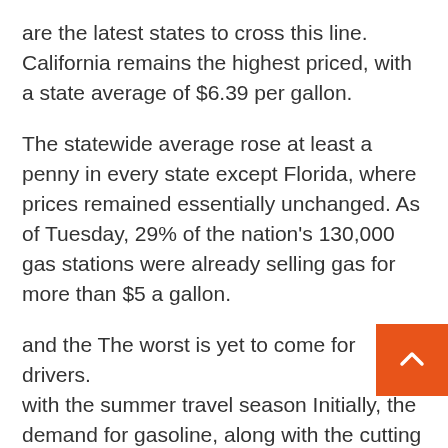are the latest states to cross this line. California remains the highest priced, with a state average of $6.39 per gallon.
The statewide average rose at least a penny in every state except Florida, where prices remained essentially unchanged. As of Tuesday, 29% of the nation's 130,000 gas stations were already selling gas for more than $5 a gallon.
and the The worst is yet to come for drivers. with the summer travel season Initially, the demand for gasoline, along with the cutting off of Russian oil shipments due to the war in Ukraine, drove up oil prices on world markets.
The national average for gasoline could approach by later this summer according to Tom Cluza, global head of energy analysis at GBG, which tracks